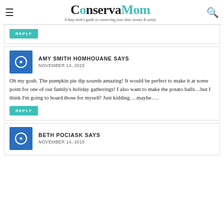ConservaMom — A busy mom's guide to conserving your time, money & sanity
REPLY
AMY SMITH HOMHOUANE SAYS
NOVEMBER 14, 2015
Oh my gosh. The pumpkin pie dip sounds amazing! It would be perfect to make it at some point for one of our family's holiday gatherings! I also want to make the potato balls…but I think I'm going to hoard those for myself! Just kidding….maybe….
REPLY
BETH POCIASK SAYS
NOVEMBER 14, 2015